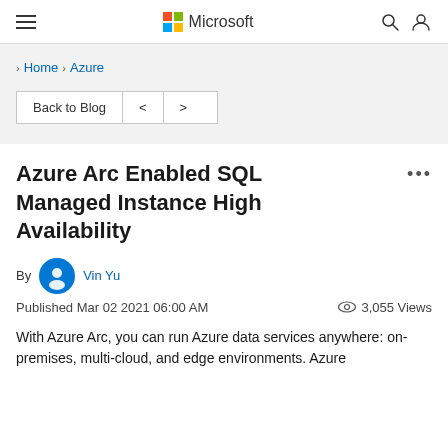Microsoft
> Home > Azure
Back to Blog < >
Azure Arc Enabled SQL Managed Instance High Availability
By Vin Yu
Published Mar 02 2021 06:00 AM  3,055 Views
With Azure Arc, you can run Azure data services anywhere: on-premises, multi-cloud, and edge environments. Azure